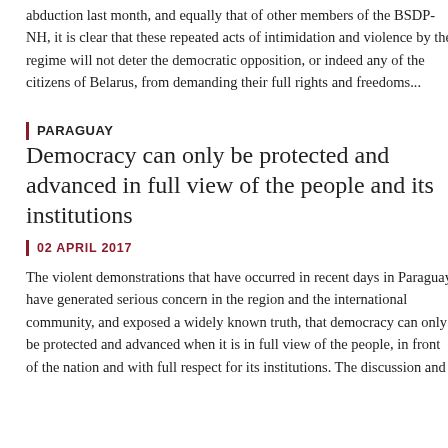abduction last month, and equally that of other members of the BSDP-NH, it is clear that these repeated acts of intimidation and violence by the regime will not deter the democratic opposition, or indeed any of the citizens of Belarus, from demanding their full rights and freedoms...
PARAGUAY
Democracy can only be protected and advanced in full view of the people and its institutions
02 APRIL 2017
The violent demonstrations that have occurred in recent days in Paraguay have generated serious concern in the region and the international community, and exposed a widely known truth, that democracy can only be protected and advanced when it is in full view of the people, in front of the nation and with full respect for its institutions. The discussion and